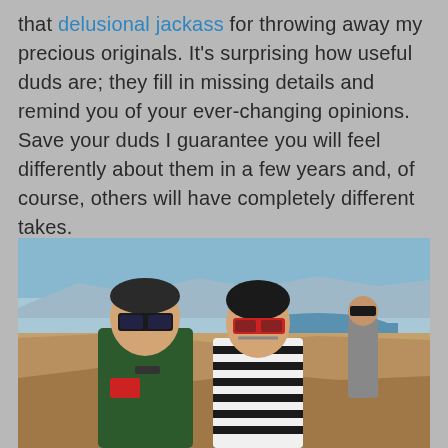that delusional jackass for throwing away my precious originals. It's surprising how useful duds are; they fill in missing details and remind you of your ever-changing opinions.  Save your duds I guarantee you will feel differently about them in a few years and, of course, others will have completely different takes.
[Figure (photo): Two people wearing eclipse glasses looking up at the sky outdoors near a desert landscape with a lake and mountains in the background. A third person is visible in the background also looking up.]